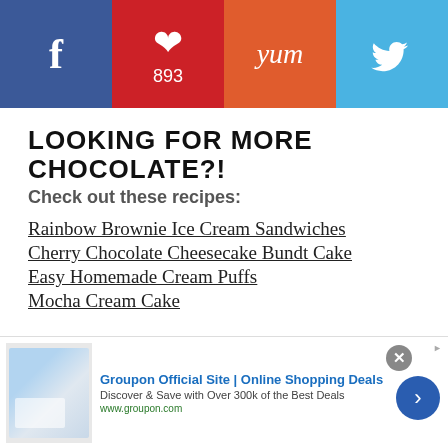[Figure (screenshot): Social sharing bar with Facebook, Pinterest (893 saves), Yum, and Twitter buttons]
LOOKING FOR MORE CHOCOLATE?!
Check out these recipes:
Rainbow Brownie Ice Cream Sandwiches
Cherry Chocolate Cheesecake Bundt Cake
Easy Homemade Cream Puffs
Mocha Cream Cake
[Figure (screenshot): Groupon advertisement banner: 'Groupon Official Site | Online Shopping Deals - Discover & Save with Over 300k of the Best Deals - www.groupon.com']